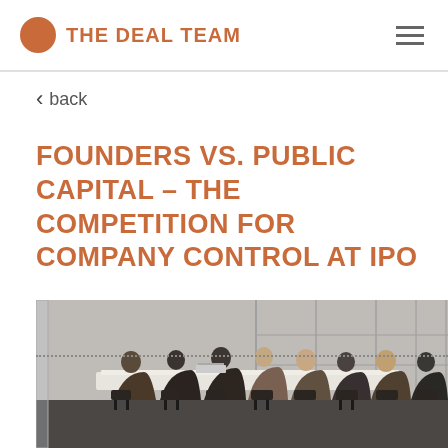THE DEAL TEAM
back
FOUNDERS VS. PUBLIC CAPITAL – THE COMPETITION FOR COMPANY CONTROL AT IPO
[Figure (photo): Business meeting scene: group of professionals seated around a long conference table in a modern office with large floor-to-ceiling windows, photographed from behind glass with a dotted horizontal line overlay]